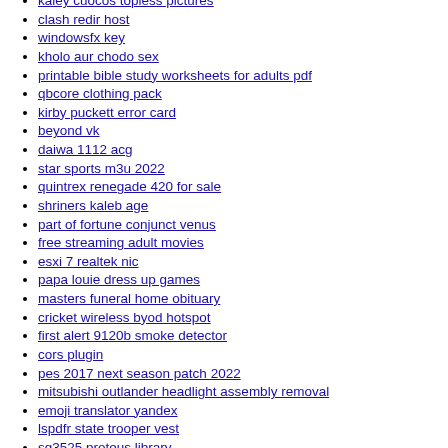kaley cuocos topless pictures
clash redir host
windowsfx key
kholo aur chodo sex
printable bible study worksheets for adults pdf
qbcore clothing pack
kirby puckett error card
beyond vk
daiwa 1112 acg
star sports m3u 2022
quintrex renegade 420 for sale
shriners kaleb age
part of fortune conjunct venus
free streaming adult movies
esxi 7 realtek nic
papa louie dress up games
masters funeral home obituary
cricket wireless byod hotspot
first alert 9120b smoke detector
cors plugin
pes 2017 next season patch 2022
mitsubishi outlander headlight assembly removal
emoji translator yandex
lspdfr state trooper vest
sg3525 proteus library